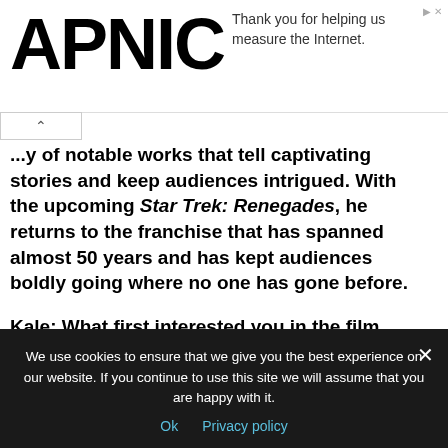[Figure (logo): APNIC logo in bold black large text]
Thank you for helping us measure the Internet.
...y of notable works that tell captivating stories and keep audiences intrigued. With the upcoming Star Trek: Renegades, he returns to the franchise that has spanned almost 50 years and has kept audiences boldly going where no one has gone before.
Kale: What first interested you in the film industry?
Manu: When I was a kid, I saw a play of Peter Pan and then films like Labyrinth, Never Ending Story, Ghostbusters, Star
We use cookies to ensure that we give you the best experience on our website. If you continue to use this site we will assume that you are happy with it.
Ok   Privacy policy